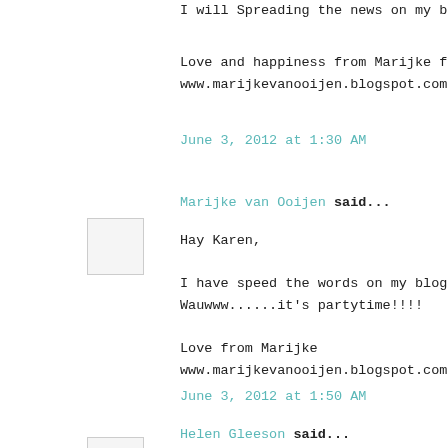I will Spreading the news on my bl...
Love and happiness from Marijke fr...
www.marijkevanooijen.blogspot.com
June 3, 2012 at 1:30 AM
Marijke van Ooijen said...
Hay Karen,

I have speed the words on my blog
Wauwww......it's partytime!!!!

Love from Marijke
www.marijkevanooijen.blogspot.com
June 3, 2012 at 1:50 AM
Helen Gleeson said...